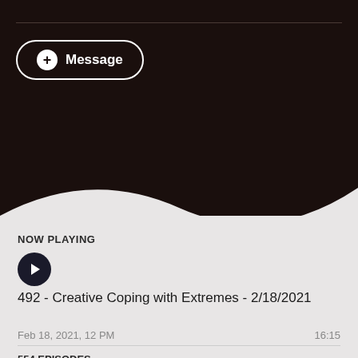[Figure (screenshot): Dark background header area of a podcast app]
Message
NOW PLAYING
492 - Creative Coping with Extremes - 2/18/2021
Feb 18, 2021, 12 PM
16:15
554 EPISODES
545 - Home Grown Meal - 8-10-2022
Aug 10, 2022, 11 AM
20:51